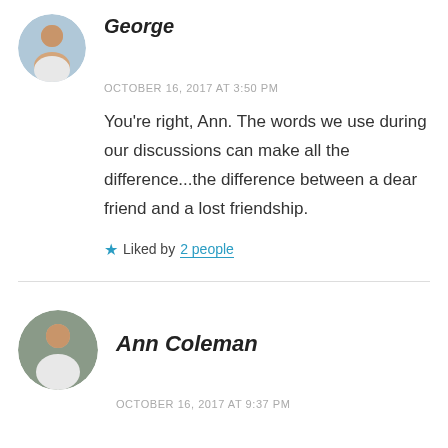George
OCTOBER 16, 2017 AT 3:50 PM
You're right, Ann. The words we use during our discussions can make all the difference...the difference between a dear friend and a lost friendship.
Liked by 2 people
Ann Coleman
OCTOBER 16, 2017 AT 9:37 PM